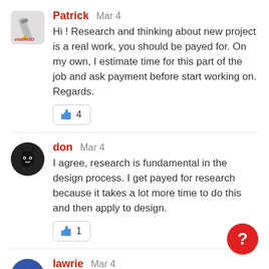[Figure (illustration): Patrick user avatar - design tool logo]
Patrick  Mar 4
Hi ! Research and thinking about new project is a real work, you should be payed for. On my own, I estimate time for this part of the job and ask payment before start working on. Regards.
👍 4
[Figure (illustration): Don user avatar - black cat silhouette]
don  Mar 4
I agree, research is fundamental in the design process. I get payed for research because it takes a lot more time to do this and then apply to design.
👍 1
[Figure (illustration): Lawrie user avatar - C&L Design logo]
lawrie  Mar 4
My preferred way of working is to estimate a...